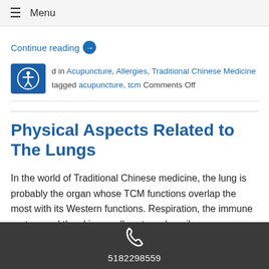≡ Menu
Continue reading →
Posted in Acupuncture, Allergies, Traditional Chinese Medicine tagged acupuncture, tcm Comments Off
Physical Aspects Related to The Lungs
In the world of Traditional Chinese medicine, the lung is probably the organ whose TCM functions overlap the most with its Western functions. Respiration, the immune system and the skin are all systems heavily
5182298559